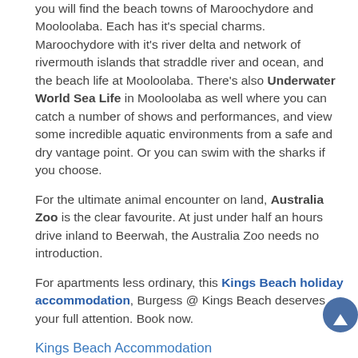you will find the beach towns of Maroochydore and Mooloolaba. Each has it's special charms. Maroochydore with it's river delta and network of rivermouth islands that straddle river and ocean, and the beach life at Mooloolaba. There's also Underwater World Sea Life in Mooloolaba as well where you can catch a number of shows and performances, and view some incredible aquatic environments from a safe and dry vantage point. Or you can swim with the sharks if you choose.
For the ultimate animal encounter on land, Australia Zoo is the clear favourite. At just under half an hours drive inland to Beerwah, the Australia Zoo needs no introduction.
For apartments less ordinary, this Kings Beach holiday accommodation, Burgess @ Kings Beach deserves your full attention. Book now.
Kings Beach Accommodation
Welcome to the perfect Kings Beach accommodation.